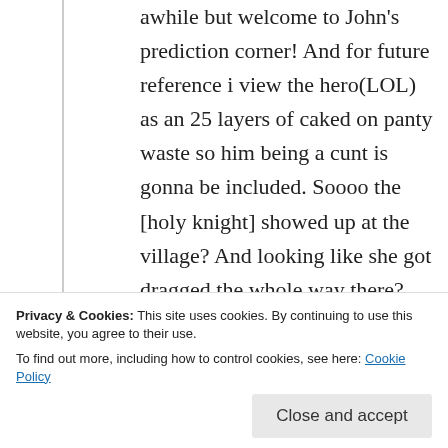awhile but welcome to John's prediction corner! And for future reference i view the hero(LOL) as an 25 layers of caked on panty waste so him being a cunt is gonna be included. Soooo the [holy knight] showed up at the village? And looking like she got dragged the whole way there? Yeah here's what I'm thinking, last we saw them the [sage] had declared she was gonna pull double shift as the groups
Privacy & Cookies: This site uses cookies. By continuing to use this website, you agree to their use. To find out more, including how to control cookies, see here: Cookie Policy